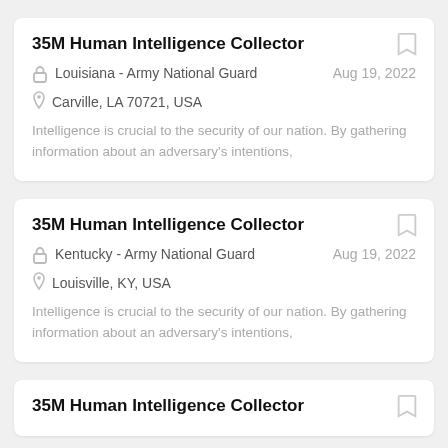35M Human Intelligence Collector
Louisiana - Army National Guard
Aug 19, 2022
Carville, LA 70721, USA
Intelligence is crucial to the security of our nation. By gathering information about an adversary's intentions,
35M Human Intelligence Collector
Kentucky - Army National Guard
Aug 19, 2022
Louisville, KY, USA
Intelligence is crucial to the security of our nation. By gathering information about an adversary's intentions,
35M Human Intelligence Collector